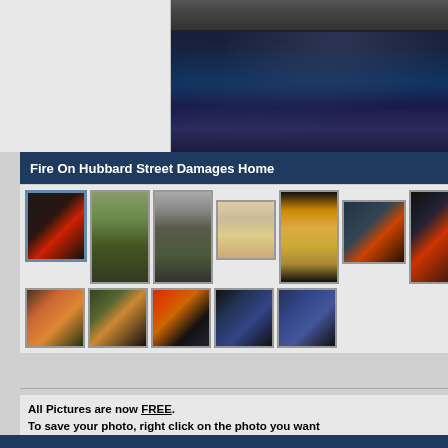[Figure (photo): Top portion of page showing a dark night-time photo on the right side (appears to be asphalt/ground) and a blank light area on the left]
Fire On Hubbard Street Damages Home
[Figure (photo): Gallery of thumbnail photos showing firefighters and fire scenes at night on Hubbard Street - two rows of thumbnails]
All Pictures are now FREE. To save your photo, right click on the photo you want click Save As. Choose a place to save your photo and click Save.
Order Your Photos Online